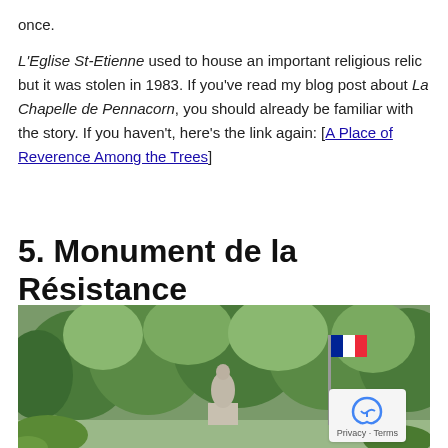once.
L'Eglise St-Etienne used to house an important religious relic but it was stolen in 1983. If you've read my blog post about La Chapelle de Pennacorn, you should already be familiar with the story. If you haven't, here's the link again: [A Place of Reverence Among the Trees]
5. Monument de la Résistance
[Figure (photo): Outdoor photograph showing a stone statue of a human figure in a park or garden setting, with trees and a French tricolor flag visible in the background.]